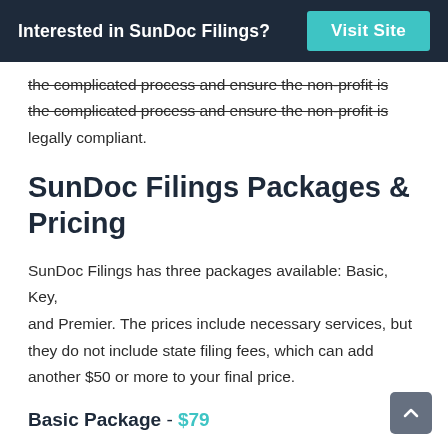Interested in SunDoc Filings? Visit Site
the complicated process and ensure the non-profit is legally compliant.
SunDoc Filings Packages & Pricing
SunDoc Filings has three packages available: Basic, Key, and Premier. The prices include necessary services, but they do not include state filing fees, which can add another $50 or more to your final price.
Basic Package - $79
This basic package only includes filing forms with the state. The package does not include preparing or